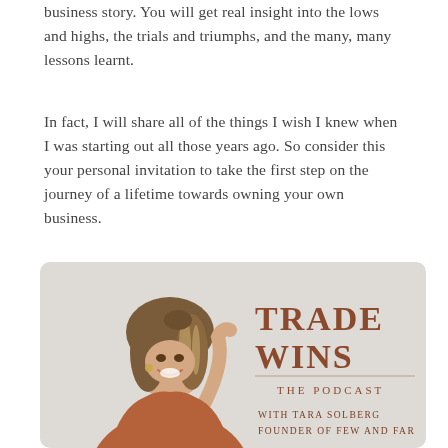business story. You will get real insight into the lows and highs, the trials and triumphs, and the many, many lessons learnt.
In fact, I will share all of the things I wish I knew when I was starting out all those years ago. So consider this your personal invitation to take the first step on the journey of a lifetime towards owning your own business.
[Figure (photo): Podcast cover image for 'Trade Wins The Podcast with Tara Solberg, Founder of Few and Far'. Shows a smiling woman with long highlighted hair wearing a rust/terracotta blouse, hand behind her head, on a light grey background. The text 'TRADE WINS THE PODCAST WITH TARA SOLBERG FOUNDER OF FEW AND FAR' appears in brown/copper serif text on the right side.]